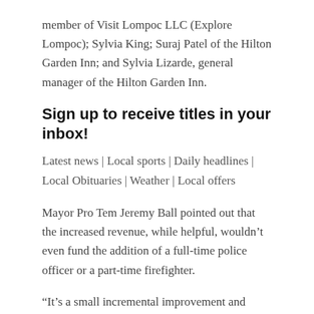member of Visit Lompoc LLC (Explore Lompoc); Sylvia King; Suraj Patel of the Hilton Garden Inn; and Sylvia Lizarde, general manager of the Hilton Garden Inn.
Sign up to receive titles in your inbox!
Latest news | Local sports | Daily headlines | Local Obituaries | Weather | Local offers
Mayor Pro Tem Jeremy Ball pointed out that the increased revenue, while helpful, wouldn’t even fund the addition of a full-time police officer or a part-time firefighter.
“It’s a small incremental improvement and should absolutely be added to the budget we already spend on public safety,” Ball said.
The city council also approved spending of American Rescue Plan